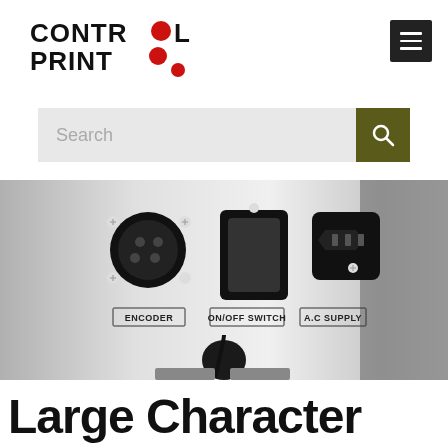[Figure (logo): Control Print logo with red dot replacing the O in CONTROL and two red dots after PRINT text]
[Figure (screenshot): Hamburger menu icon (three white horizontal lines on dark square background)]
[Figure (screenshot): Search bar with light grey input field and dark olive/brown search button with magnifying glass icon]
[Figure (photo): Close-up photo of the back panel of a large character inkjet printer showing ENCODER connector, ON/OFF SWITCH toggle, and A.C. SUPPLY IEC inlet on a metallic (stainless steel) panel]
Large Character